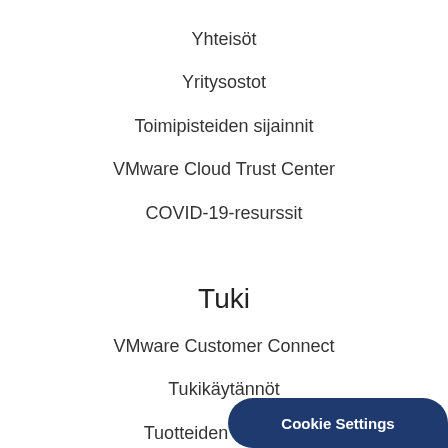Yhteisöt
Yritysostot
Toimipisteiden sijainnit
VMware Cloud Trust Center
COVID-19-resurssit
Tuki
VMware Customer Connect
Tukikäytännöt
Tuotteiden asiakirjat
Yhteensopivuusopas
Loppukäyttäjän ehdot
Cookie Settings